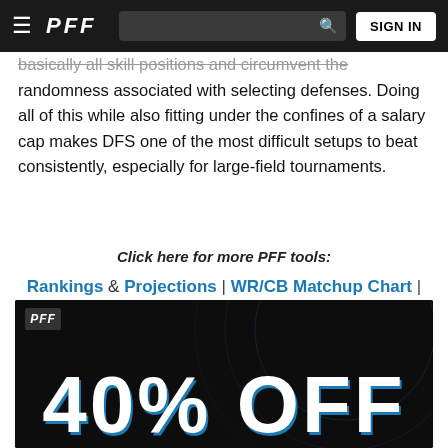PFF | SIGN IN
basically all skill positions and circumvent the randomness associated with selecting defenses. Doing all of this while also fitting under the confines of a salary cap makes DFS one of the most difficult setups to beat consistently, especially for large-field tournaments.
Click here for more PFF tools:
Rankings & Projections | WR/CB Matchup Chart | NFL & NCAA Betting Dashboards | NFL Player Props tool | NFL & NCAA Power Rankings
[Figure (advertisement): PFF advertisement banner showing '40% OFF' in large white text with blue shadow on dark background, PFF logo in top left corner]